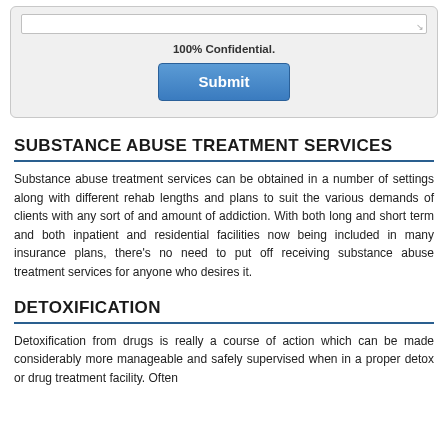[Figure (screenshot): Web form box with textarea, '100% Confidential.' text, and a blue Submit button, on a light grey background.]
SUBSTANCE ABUSE TREATMENT SERVICES
Substance abuse treatment services can be obtained in a number of settings along with different rehab lengths and plans to suit the various demands of clients with any sort of and amount of addiction. With both long and short term and both inpatient and residential facilities now being included in many insurance plans, there's no need to put off receiving substance abuse treatment services for anyone who desires it.
DETOXIFICATION
Detoxification from drugs is really a course of action which can be made considerably more manageable and safely supervised when in a proper detox or drug treatment facility. Often